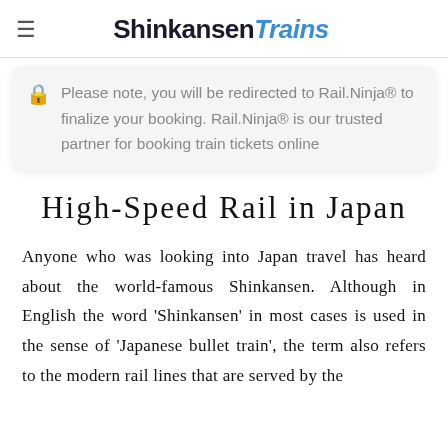ShinkansenTrains
Please note, you will be redirected to Rail.Ninja® to finalize your booking. Rail.Ninja® is our trusted partner for booking train tickets online
High-Speed Rail in Japan
Anyone who was looking into Japan travel has heard about the world-famous Shinkansen. Although in English the word 'Shinkansen' in most cases is used in the sense of 'Japanese bullet train', the term also refers to the modern rail lines that are served by the